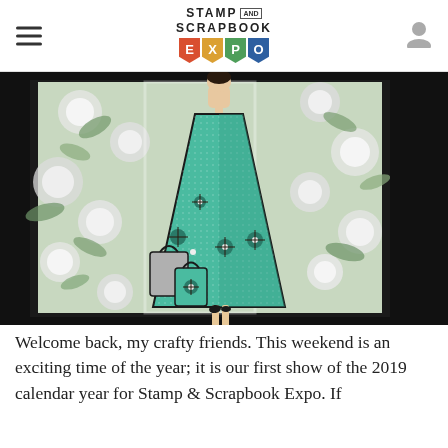STAMP AND SCRAPBOOK EXPO
[Figure (photo): Photo of a handmade stamped card featuring an illustrated woman in a teal glittery flared dress carrying shopping bags, on a floral patterned background, mounted on a dark mat]
Welcome back, my crafty friends. This weekend is an exciting time of the year; it is our first show of the 2019 calendar year for Stamp & Scrapbook Expo. If